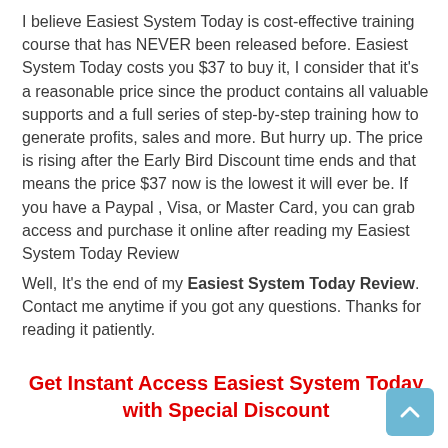I believe Easiest System Today is cost-effective training course that has NEVER been released before. Easiest System Today costs you $37 to buy it, I consider that it's a reasonable price since the product contains all valuable supports and a full series of step-by-step training how to generate profits, sales and more. But hurry up. The price is rising after the Early Bird Discount time ends and that means the price $37 now is the lowest it will ever be. If you have a Paypal , Visa, or Master Card, you can grab access and purchase it online after reading my Easiest System Today Review
Well, It's the end of my Easiest System Today Review. Contact me anytime if you got any questions. Thanks for reading it patiently.
Get Instant Access Easiest System Today with Special Discount